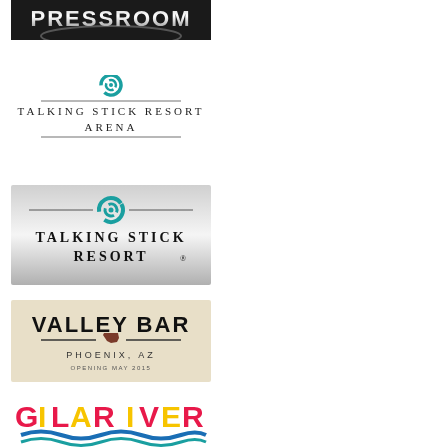[Figure (logo): Pressroom logo — bold metallic 3D text 'PRESSROOM' on dark background]
[Figure (logo): Talking Stick Resort Arena logo — teal swirl icon above text 'TALKING STICK RESORT ARENA' in spaced caps]
[Figure (logo): Talking Stick Resort logo — gradient grey background with teal swirl icon and text 'TALKING STICK RESORT']
[Figure (logo): Valley Bar logo — beige/tan background with 'VALLEY BAR' bold text, Arizona state outline, 'PHOENIX, AZ' and 'OPENING MAY 2015']
[Figure (logo): Gila River logo — colorful text 'GILA RIVER' in pink/yellow letters with blue wave graphic below]